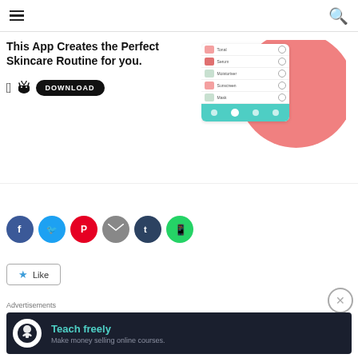≡  🔍
[Figure (screenshot): App promotional banner: 'This App Creates the Perfect Skincare Routine for you.' with Apple/Android download icons and a DOWNLOAD button. Right side shows an app screenshot mockup with pink circle background and skincare routine list items.]
[Figure (infographic): Row of social share icons: Facebook (blue), Twitter (light blue), Pinterest (red), Email (grey), Tumblr (dark blue), WhatsApp (green)]
[Figure (other): Like button with star icon]
Advertisements
[Figure (illustration): Advertisement banner: dark background, circular logo with tree/person icon, 'Teach freely' in teal, 'Make money selling online courses.' in grey]